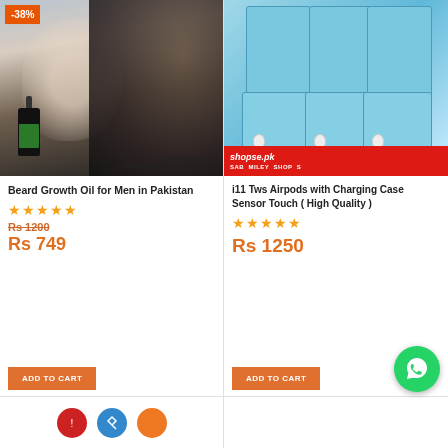[Figure (photo): Product photo of Beard Growth Oil for Men with man and woman, discount badge -38% in orange top-left corner, text overlay BEARD GROWTH OIL 100% NATURAL & HIGHLY EFFECTIVE ON]
Beard Growth Oil for Men in Pakistan
[Figure (other): Star rating 4+ stars in orange]
Rs 1200 (strikethrough)
Rs 749
ADD TO CART
[Figure (photo): Product photo of i11 Tws Airpods with charging case boxes stacked, shopse.pk SAB MILEY SHOP S banner at bottom]
i11 Tws Airpods with Charging Case Sensor Touch ( High Quality )
[Figure (other): Star rating 4+ stars in orange]
Rs 1250
ADD TO CART
[Figure (other): WhatsApp green circle button with phone icon]
[Figure (other): Bottom partial row with red, blue bluetooth, and orange circle icons]